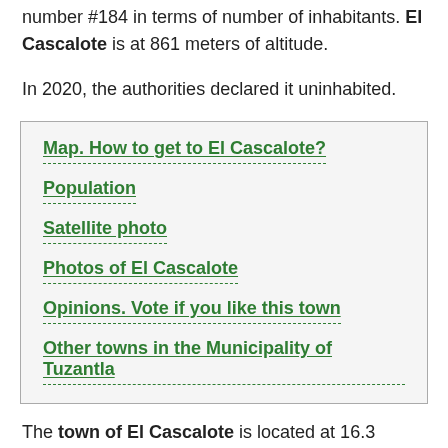number #184 in terms of number of inhabitants. El Cascalote is at 861 meters of altitude.
In 2020, the authorities declared it uninhabited.
Map. How to get to El Cascalote?
Population
Satellite photo
Photos of El Cascalote
Opinions. Vote if you like this town
Other towns in the Municipality of Tuzantla
The town of El Cascalote is located at 16.3 kilometers from Tuzantla, which is the most populated locality in the municipality, in the Northeast direction. If you browse our webpage, you will